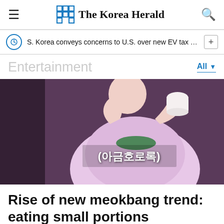The Korea Herald
S. Korea conveys concerns to U.S. over new EV tax credit law: offi…
Entertainment
[Figure (photo): Person in pink shirt drinking from a small white cup, Korean text overlay reading (아금호로록)]
Rise of new meokbang trend: eating small portions